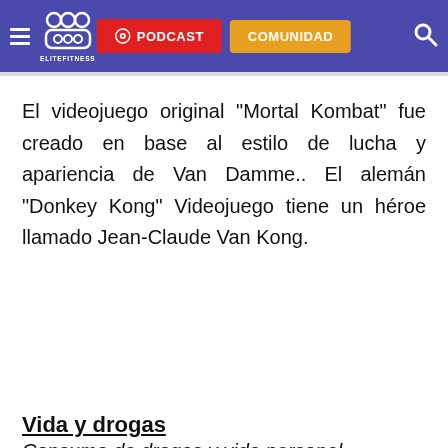EliteFitness — PODCAST — COMUNIDAD
El videojuego original "Mortal Kombat" fue creado en base al estilo de lucha y apariencia de Van Damme.. El alemán "Donkey Kong" Videojuego tiene un héroe llamado Jean-Claude Van Kong.
Vida y drogas
Consumo de drogas y vida personal